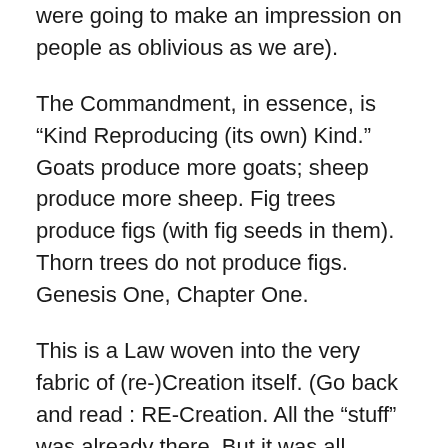were going to make an impression on people as oblivious as we are).
The Commandment, in essence, is “Kind Reproducing (its own) Kind.” Goats produce more goats; sheep produce more sheep. Fig trees produce figs (with fig seeds in them). Thorn trees do not produce figs. Genesis One, Chapter One.
This is a Law woven into the very fabric of (re-)Creation itself. (Go back and read : RE-Creation. All the “stuff” was already there. But it was all jumbled together – concatenated. Before it could be put back right again, it had to first be separated into components. By stages). (From here to “alchemy” is a very short step indeed).